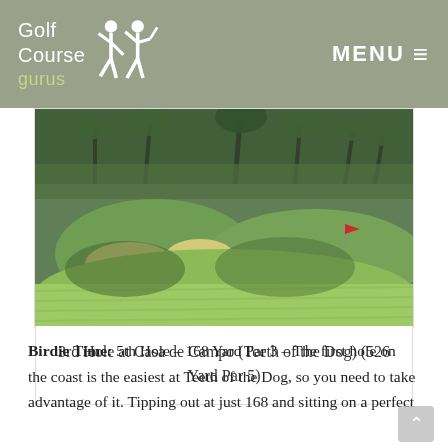Golf Course Gurus | MENU
[Figure (photo): Aerial/ground level view of a golf course hole at Casa de Campo (Teeth of the Dog), showing green fairway, sand bunkers, and palm trees in the background]
3rd Hole at Casa de Campo (Teeth of the Dog) (526 Yard Par 5)
Birdie Time: 5th Hole – 168 Yard Par 3 – The first hole on the coast is the easiest at Teeth of the Dog, so you need to take advantage of it. Tipping out at just 168 and sitting on a perfect